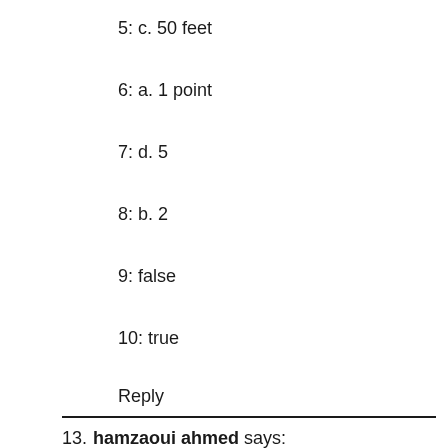5: c. 50 feet
6: a. 1 point
7: d. 5
8: b. 2
9: false
10: true
Reply
13. hamzaoui ahmed says:
2022-01-01
is 16 years old too late to start?